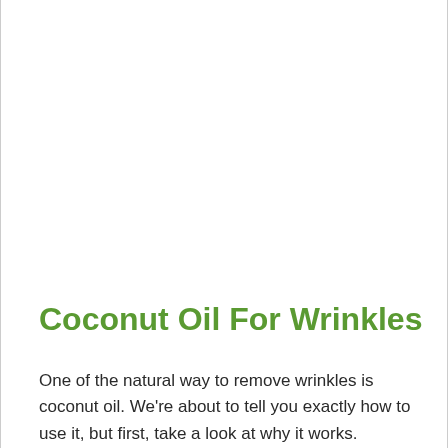Coconut Oil For Wrinkles
One of the natural way to remove wrinkles is coconut oil. We're about to tell you exactly how to use it, but first, take a look at why it works.